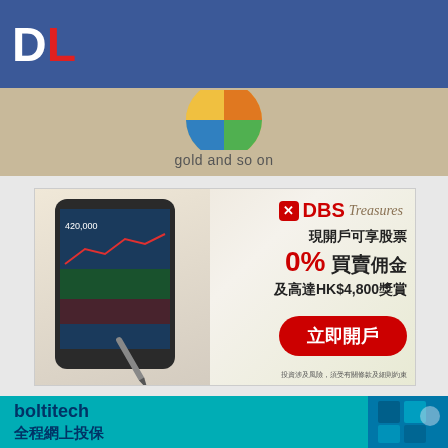DL
[Figure (other): Partial pie chart in beige/tan background strip with text 'gold and so on']
gold and so on
[Figure (photo): DBS Treasures advertisement featuring a hand holding a smartphone showing stock trading charts. Text reads: 現開戶可享股票 0% 買賣佣金 及高達HK$4,800獎賞. A red button says 立即開戶. Disclaimer: 投資涉及風險，須受有關條款及細則約束]
[Figure (photo): Bolttech insurance advertisement with teal background. Logo: bolttech. Text: 全程網上投保]